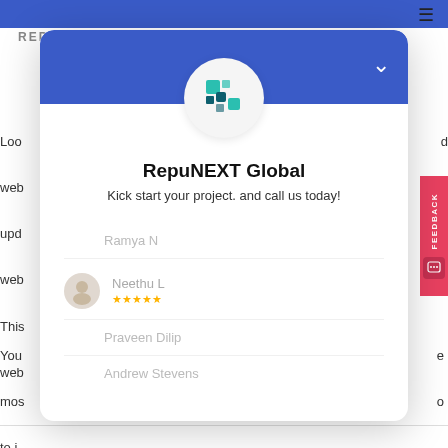[Figure (screenshot): A screenshot of a website page showing a chat/review widget popup for RepuNEXT Global with the tagline 'Kick start your project. and call us today!' overlaid on a webpage. The modal has a blue header with a logo, and shows reviewer names: Ramya N, Neethu L, Praveen Dilip, Andrew Stevens. A red FEEDBACK tab is on the right side. Background shows partial page text and navigation.]